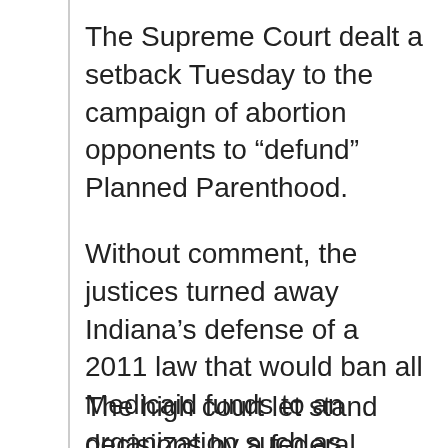The Supreme Court dealt a setback Tuesday to the campaign of abortion opponents to “defund” Planned Parenthood.
Without comment, the justices turned away Indiana’s defense of a 2011 law that would ban all Medicaid funds to an organization such as Planned Parenthood whose work includes performing abortions.
The high court let stand decisions by a federal judge in Indiana and the 7th